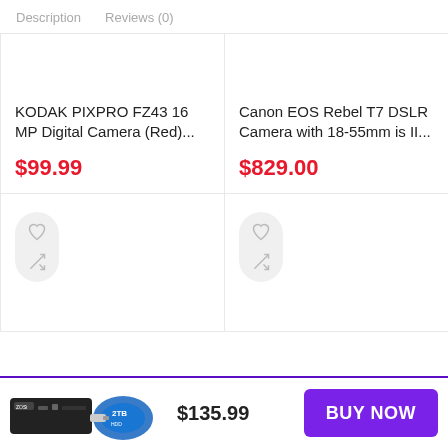Description   Reviews (0)
KODAK PIXPRO FZ43 16 MP Digital Camera (Red)...
$99.99
Canon EOS Rebel T7 DSLR Camera with 18-55mm is II...
$829.00
[Figure (illustration): Heart (wishlist) and shuffle (compare) icon pill buttons for product card 3]
[Figure (illustration): Heart (wishlist) and shuffle (compare) icon pill buttons for product card 4]
[Figure (photo): ZOSi product image (DVR/camera system device) with 2TB drive]
$135.99
BUY NOW